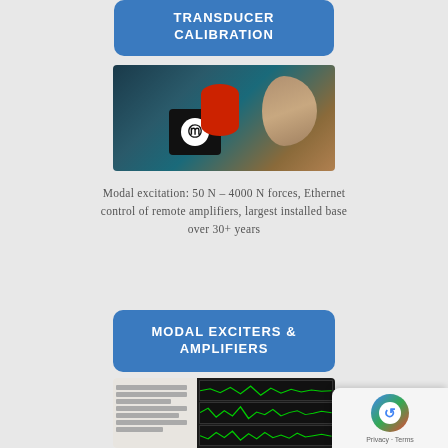TRANSDUCER CALIBRATION
[Figure (photo): Photo of a modal exciter device with red cylinder component, black enclosure with MB logo (white circle), and a metallic horn/trumpet shaped component on a blue-green background]
Modal excitation: 50 N – 4000 N forces, Ethernet control of remote amplifiers, largest installed base over 30+ years
MODAL EXCITERS & AMPLIFIERS
[Figure (screenshot): Screenshot of software interface showing multiple panels with green waveform displays on dark backgrounds, with control panel on the left side]